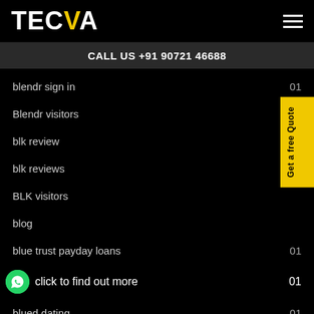TECVA
CALL US +91 90721 46688
blendr sign in
Blendr visitors
blk review
blk reviews
BLK visitors
blog
blue trust payday loans
B click to find out more
blued dating